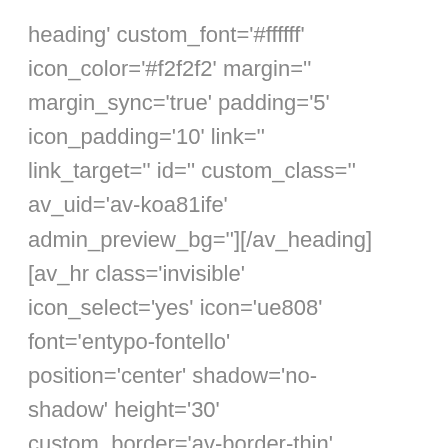heading' custom_font='#ffffff' icon_color='#f2f2f2' margin='' margin_sync='true' padding='5' icon_padding='10' link='' link_target='' id='' custom_class='' av_uid='av-koa81ife' admin_preview_bg=''][/av_heading] [av_hr class='invisible' icon_select='yes' icon='ue808' font='entypo-fontello' position='center' shadow='no-shadow' height='30' custom_border='av-border-thin' custom_width='50px'